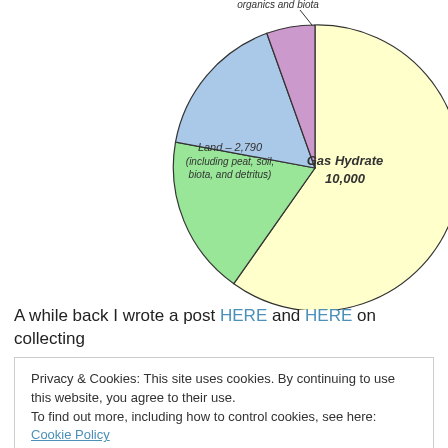[Figure (pie-chart): Global Carbon Reservoirs]
A while back I wrote a post HERE and HERE on collecting
Privacy & Cookies: This site uses cookies. By continuing to use this website, you agree to their use. To find out more, including how to control cookies, see here: Cookie Policy
so might as well examine the chosen.